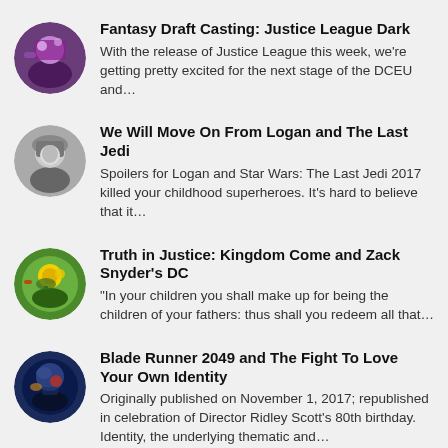Fantasy Draft Casting: Justice League Dark — With the release of Justice League this week, we're getting pretty excited for the next stage of the DCEU and…
We Will Move On From Logan and The Last Jedi — Spoilers for Logan and Star Wars: The Last Jedi 2017 killed your childhood superheroes. It's hard to believe that it…
Truth in Justice: Kingdom Come and Zack Snyder's DC — "In your children you shall make up for being the children of your fathers: thus shall you redeem all that…
Blade Runner 2049 and The Fight To Love Your Own Identity — Originally published on November 1, 2017; republished in celebration of Director Ridley Scott's 80th birthday. Identity, the underlying thematic and…